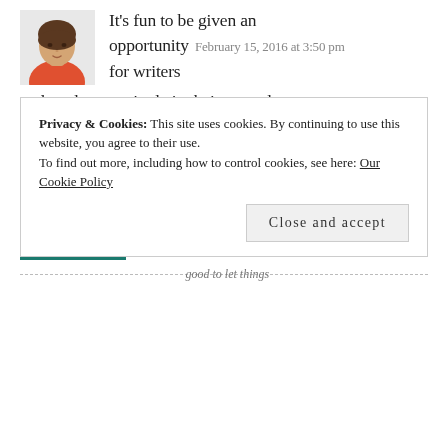[Figure (photo): Avatar photo of a woman in a red/orange top, cropped portrait]
It's fun to be given an opportunity  February 15, 2016 at 3:50 pm
for writers
and readers to mingle in their mutual admiration for all things Jane Austen
😊
Like
REPLY
Privacy & Cookies: This site uses cookies. By continuing to use this website, you agree to their use.
To find out more, including how to control cookies, see here: Our Cookie Policy
Close and accept